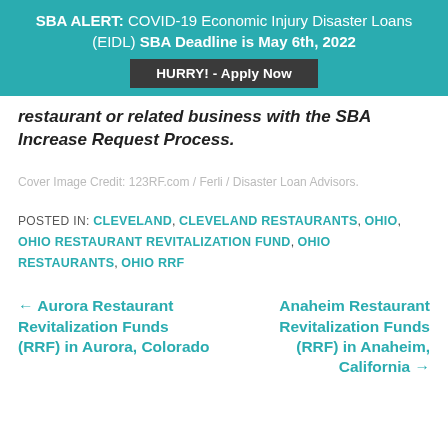SBA ALERT: COVID-19 Economic Injury Disaster Loans (EIDL) SBA Deadline is May 6th, 2022
[Figure (other): HURRY! - Apply Now button]
restaurant or related business with the SBA Increase Request Process.
Cover Image Credit: 123RF.com / Ferli / Disaster Loan Advisors.
POSTED IN: CLEVELAND, CLEVELAND RESTAURANTS, OHIO, OHIO RESTAURANT REVITALIZATION FUND, OHIO RESTAURANTS, OHIO RRF
← Aurora Restaurant Revitalization Funds (RRF) in Aurora, Colorado
Anaheim Restaurant Revitalization Funds (RRF) in Anaheim, California →